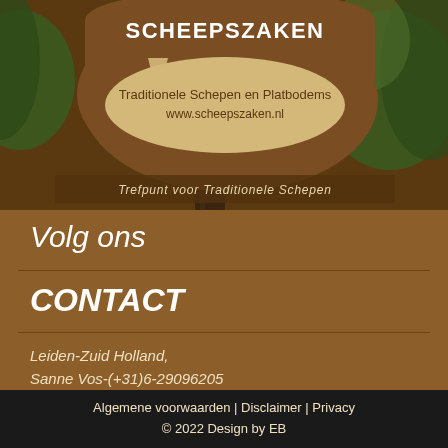[Figure (photo): Photo of a wooden brown oval sign reading 'SCHEEPSZAKEN - Traditionele Schepen en Platbodems - www.scheepszaken.nl' with a sailboat illustration, mounted outdoors. Bottom banner reads 'Trefpunt voor Traditionele Schepen'.]
Volg ons
CONTACT
Leiden-Zuid Holland,
Sanne Vos-(+31)6-29096205
Info@scheepszaken.nl
Algemene voorwaarden | Disclaimer | Privacy
© 2022 Design by EB